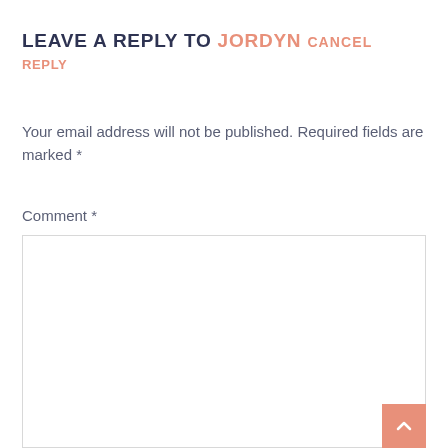LEAVE A REPLY TO JORDYN CANCEL REPLY
Your email address will not be published. Required fields are marked *
Comment *